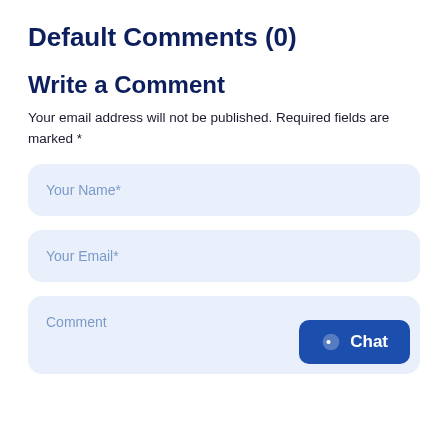Default Comments (0)
Write a Comment
Your email address will not be published. Required fields are marked *
[Figure (screenshot): Form input field with placeholder text 'Your Name*' on a light blue background with rounded corners]
[Figure (screenshot): Form input field with placeholder text 'Your Email*' on a light blue background with rounded corners]
[Figure (screenshot): Form textarea with placeholder text 'Comment' on a light blue background with rounded corners, with a blue Chat button in the bottom right corner]